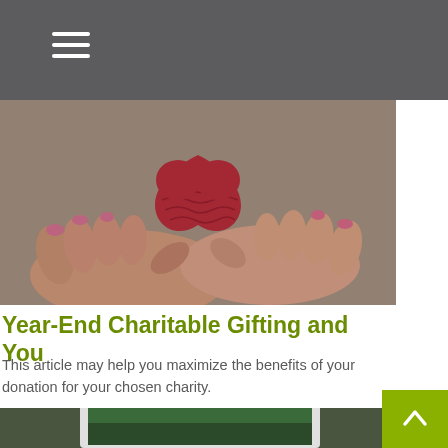[Figure (photo): Hands cupping a red knitted heart-shaped object against a grey concrete background]
Year-End Charitable Gifting and You
This article may help you maximize the benefits of your donation for your chosen charity.
[Figure (photo): Partial view of a tablet/laptop on a dark outdoor surface, partially cropped at bottom of page]